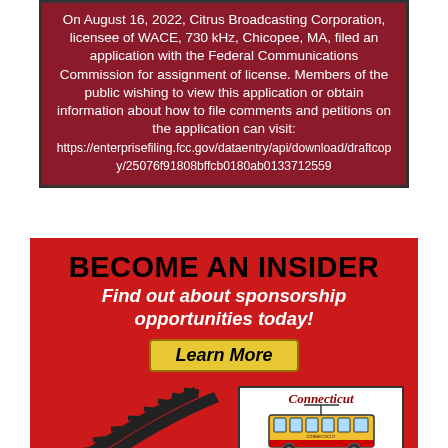On August 16, 2022, Citrus Broadcasting Corporation, licensee of WACE, 730 kHz, Chicopee, MA, filed an application with the Federal Communications Commission for assignment of license. Members of the public wishing to view this application or obtain information about how to file comments and petitions on the application can visit: https://enterprisefiling.fcc.gov/dataentry/api/download/draftcopy/25076f91808bffcb0180ab0133712559
[Figure (infographic): Red advertisement block for Connecticut Trolley Museum sponsorship. Contains heading 'BECOME AN INSIDER', italic text 'Find out about sponsorship opportunities today!', yellow 'Learn More' button, trolley track illustration, and Connecticut Trolley Museum logo.]